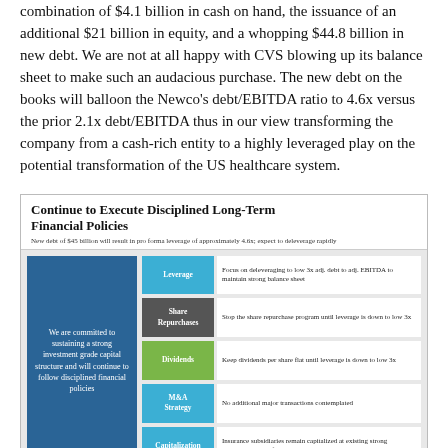combination of $4.1 billion in cash on hand, the issuance of an additional $21 billion in equity, and a whopping $44.8 billion in new debt. We are not at all happy with CVS blowing up its balance sheet to make such an audacious purchase. The new debt on the books will balloon the Newco's debt/EBITDA ratio to 4.6x versus the prior 2.1x debt/EBITDA thus in our view transforming the company from a cash-rich entity to a highly leveraged play on the potential transformation of the US healthcare system.
[Figure (infographic): CVS Health infographic titled 'Continue to Execute Disciplined Long-Term Financial Policies'. Subtitle: 'New debt of $45 billion will result in pro forma leverage of approximately 4.6x; expect to deleverage rapidly'. Left box: 'We are committed to sustaining a strong investment grade capital structure and will continue to follow disciplined financial policies'. Right side has 5 rows: Leverage - Focus on deleveraging to low 3x adj. debt to adj. EBITDA to maintain strong balance sheet; Share Repurchases - Stop the share repurchase program until leverage is down to low 3x; Dividends - Keep dividends per share flat until leverage is down to low 3x; M&A Strategy - No additional major transactions contemplated; Capitalization - Insurance subsidiaries remain capitalized at existing strong investment grade financial strength ratings. CVS Health logo at bottom right.]
Image Source: CVS Health Conference Call Slide Deck on December 4
From an income investor's perspective, the deal could likely be considered a disaster as the debt load